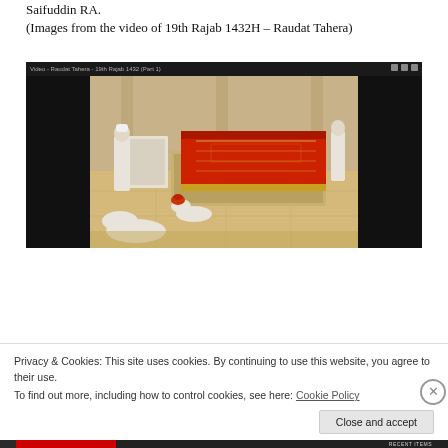Saifuddin RA.
(Images from the video of 19th Rajab 1432H – Raudat Tahera)
[Figure (screenshot): Video screenshot showing people in white robes in a mausoleum with an ornate red and gold draped tomb/cenotaph on a marble floor with marble walls and columns.]
Privacy & Cookies: This site uses cookies. By continuing to use this website, you agree to their use.
To find out more, including how to control cookies, see here: Cookie Policy
Close and accept